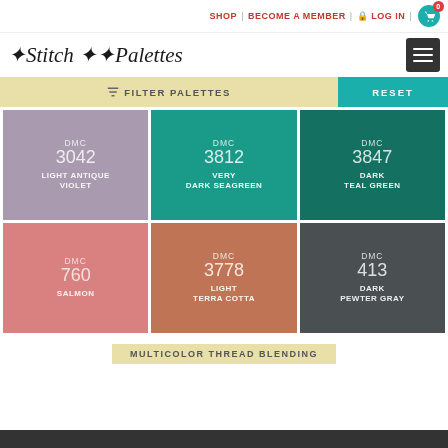SHOP | BECOME A MEMBER | LOG IN | 0
Stitch Palettes
FILTER PALETTES
RESET
DMC 3042 LIGHT ANTIQUE VIOLET
DMC 3812 VERY DARK SEAGREEN
DMC 3847 DARK TEAL GREEN
DMC 760 SALMON
DMC 3778 LIGHT TERRA COTTA
DMC 413 DARK PEWTER GRAY
MULTICOLOR THREAD BLENDING